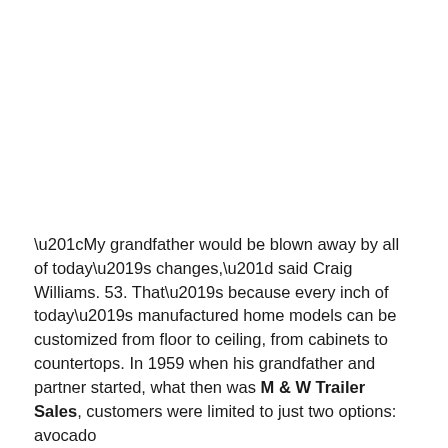“My grandfather would be blown away by all of today’s changes,” said Craig Williams. 53. That’s because every inch of today’s manufactured home models can be customized from floor to ceiling, from cabinets to countertops. In 1959 when his grandfather and partner started, what then was M & W Trailer Sales, customers were limited to just two options: avocado